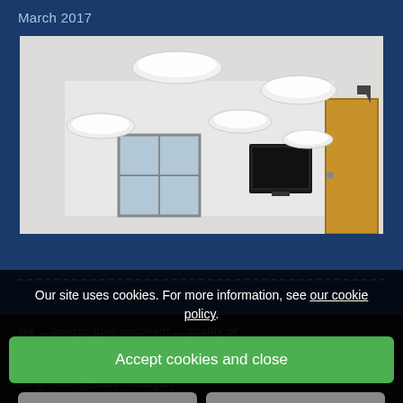March 2017
[Figure (photo): Interior room photo showing ceiling with multiple circular flush-mount light fixtures, a wall-mounted flat screen TV, a window with blue covering, and a wooden door on the right side.]
We ... always give excellent ... quality of workmanship and most important – reliable...
Mr G Peter (Estate Manager)
Micklefield Hall, Sarratt, Herts
March 2...
Our site uses cookies. For more information, see our cookie policy.
Accept cookies and close
Reject cookies
Manage settings